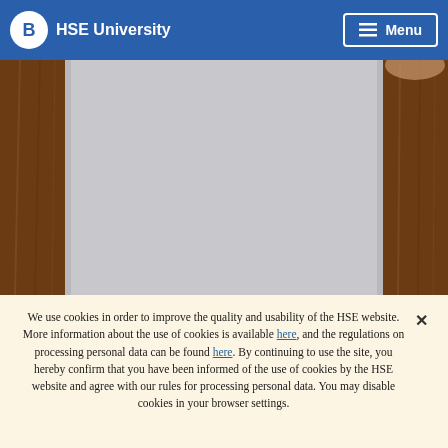HSE University
[Figure (photo): A blank/light grey sheet of paper propped up against a wooden surface, with a person's hands visible at the top right corner. The background shows warm brown wood tones.]
We use cookies in order to improve the quality and usability of the HSE website. More information about the use of cookies is available here, and the regulations on processing personal data can be found here. By continuing to use the site, you hereby confirm that you have been informed of the use of cookies by the HSE website and agree with our rules for processing personal data. You may disable cookies in your browser settings.